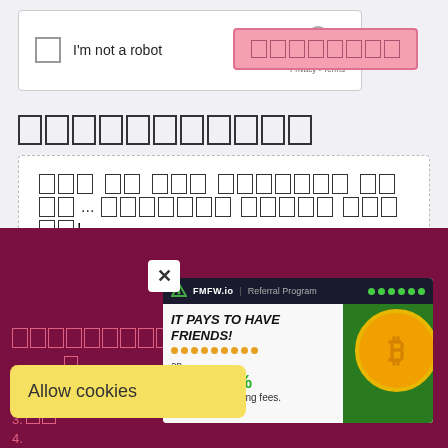[Figure (screenshot): reCAPTCHA widget with 'I'm not a robot' checkbox, reCAPTCHA logo, Privacy and Terms links]
[Figure (screenshot): Pink submit button with placeholder box characters]
[placeholder boxes representing non-Latin heading text]
[placeholder boxes representing non-Latin comment placeholder text]... [more placeholder boxes]!
[Figure (screenshot): Dark maroon footer section with list items, overlay popup ad for FMFW.io Referral Program saying IT PAYS TO HAVE FRIENDS! Earn 80% of the trading fees., a close button X, and a cookie consent banner saying Allow cookies]